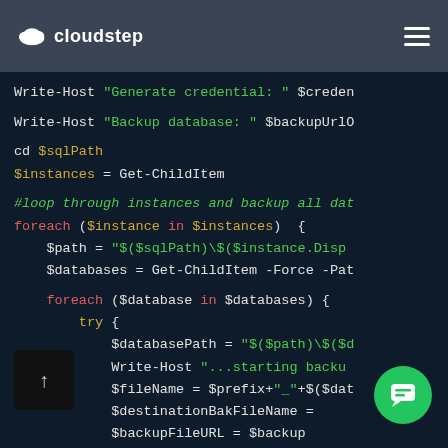cloudstep
[Figure (screenshot): PowerShell/code editor screenshot showing a script with Write-Host, Get-ChildItem, foreach loops, and backup database logic. Dark background with syntax highlighting: white, green, orange, and red colored keywords.]